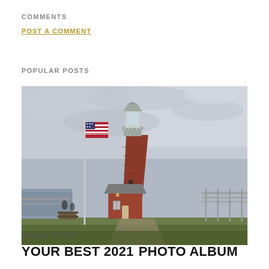COMMENTS
POST A COMMENT
POPULAR POSTS
[Figure (photo): A red brick lighthouse with a metal lantern room at the top, an American flag on a tall flagpole to the left, a small attached building, overcast grey sky, people and waterfront fence visible in the background.]
January 08, 2022
YOUR BEST 2021 PHOTO ALBUM